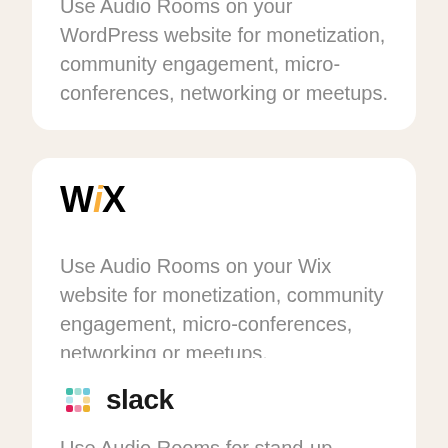Use Audio Rooms on your WordPress website for monetization, community engagement, micro-conferences, networking or meetups.
[Figure (logo): Wix logo in bold black text with stylized italic yellow 'i']
Use Audio Rooms on your Wix website for monetization, community engagement, micro-conferences, networking or meetups.
[Figure (logo): Slack logo with colorful hashtag-style icon and 'slack' wordmark in dark text]
Use Audio Rooms for stand-up neetings, goofing-off, brainstorming, catching-Up,